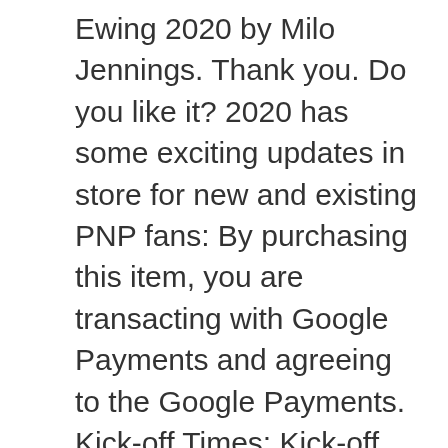Ewing 2020 by Milo Jennings. Thank you. Do you like it? 2020 has some exciting updates in store for new and existing PNP fans: By purchasing this item, you are transacting with Google Payments and agreeing to the Google Payments. Kick-off Times; Kick-off times are converted to your local PC time. Get a free personalized message directly from Santa right now. Have your child leave a message for Santa. PNP (Portable North Pole) Santa's Christmas Message To Jake 2020, Advanced embedding details, examples, and help, Terms of Service (last updated 12/31/2014). 2020 has some exciting updates in store for new and existing PNP fans: ** 4 NEW FREE SANTA